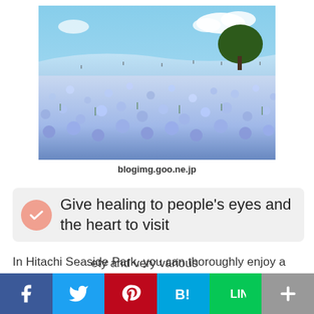[Figure (photo): A field of blue nemophila flowers at Hitachi Seaside Park with a green tree in the background and blue sky with white clouds]
blogimg.goo.ne.jp
Give healing to people's eyes and the heart to visit
In Hitachi Seaside Park, you can thoroughly enjoy a splendid plant any place other than nemophila according to a season. In summer, a rose, a sunflower and zinnia. Kokia and cosmos ... ety and very various